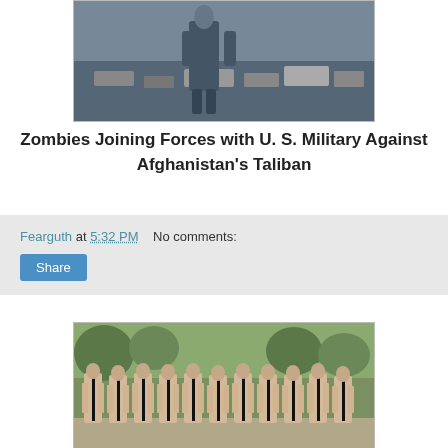[Figure (photo): A person walking through rubble and debris, wearing a dark jacket and jeans.]
Zombies Joining Forces with U. S. Military Against Afghanistan's Taliban
Fearguth at 5:32 PM    No comments:
[Figure (photo): A row of people standing with their backs to the camera, wearing minimal black swimwear, in front of a natural outdoor background.]